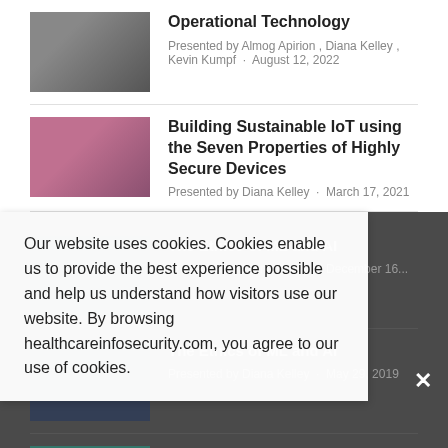[Figure (photo): Hands on keyboard thumbnail]
Operational Technology
Presented by Almog Apirion , Diana Kelley , Kevin Kumpf · August 12, 2022
[Figure (photo): Woman with glasses and pink top thumbnail]
Building Sustainable IoT using the Seven Properties of Highly Secure Devices
Presented by Diana Kelley · March 17, 2021
[Figure (photo): Dark photo thumbnail]
The Ethics of ML and AI
Presented by Diana Kelley · December 16...
[Figure (photo): Dark photo thumbnail 2]
The Ethics of ML and AI
Presented by Diana Kelley · May 29, 2019
[Figure (photo): Teal thumbnail]
The Ethics of ML and AI
Presented by Diana Kelley · March 26, 2019
Our website uses cookies. Cookies enable us to provide the best experience possible and help us understand how visitors use our website. By browsing healthcareinfosecurity.com, you agree to our use of cookies.